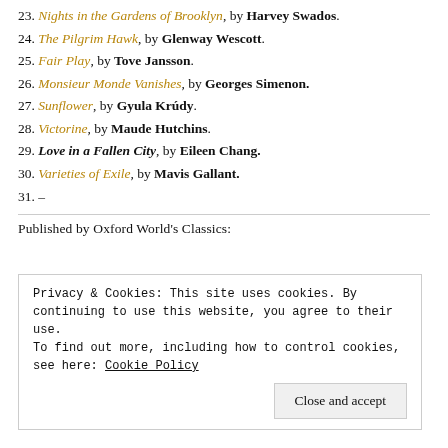23. Nights in the Gardens of Brooklyn, by Harvey Swados.
24. The Pilgrim Hawk, by Glenway Wescott.
25. Fair Play, by Tove Jansson.
26. Monsieur Monde Vanishes, by Georges Simenon.
27. Sunflower, by Gyula Krúdy.
28. Victorine, by Maude Hutchins.
29. Love in a Fallen City, by Eileen Chang.
30. Varieties of Exile, by Mavis Gallant.
31. –
Published by Oxford World's Classics:
Privacy & Cookies: This site uses cookies. By continuing to use this website, you agree to their use. To find out more, including how to control cookies, see here: Cookie Policy
Close and accept